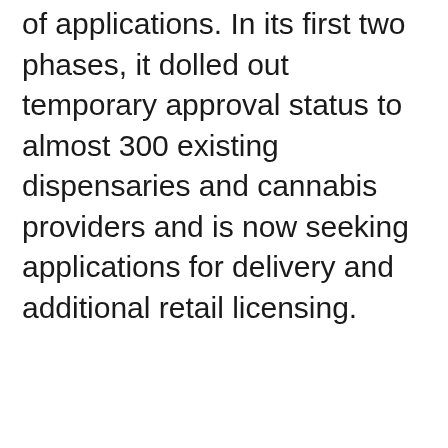of applications. In its first two phases, it dolled out temporary approval status to almost 300 existing dispensaries and cannabis providers and is now seeking applications for delivery and additional retail licensing.